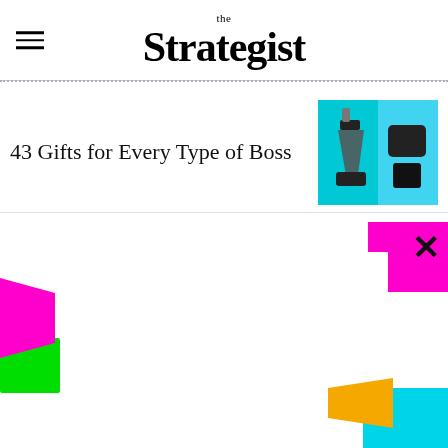the Strategist
43 Gifts for Every Type of Boss
[Figure (photo): Product photo on cyan background showing a blender and a small black speaker]
[Figure (logo): Green price-tag logo with 'the Strategist' text]
WE HAVE A NEWSLETTER!
Join our list for newsletter-only discounts on editor favorites
Plus actually good sales, expert picks, and excellent gift ideas
Enter email here
SIGN ME UP
NO THANKS